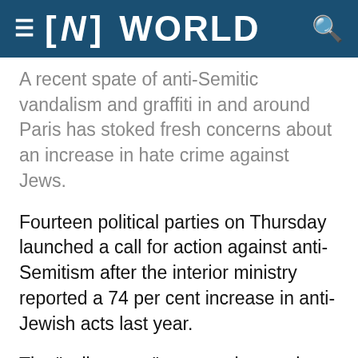≡ [N] WORLD
A recent spate of anti-Semitic vandalism and graffiti in and around Paris has stoked fresh concerns about an increase in hate crime against Jews.
Fourteen political parties on Thursday launched a call for action against anti-Semitism after the interior ministry reported a 74 per cent increase in anti-Jewish acts last year.
The "yellow vest" protests began three months ago over fuel taxes but quickly grew into a broader anti-government rebellion fuelled by hatred of Mr Macron, with some using anti-Semitic tropes to refer to his former job as an